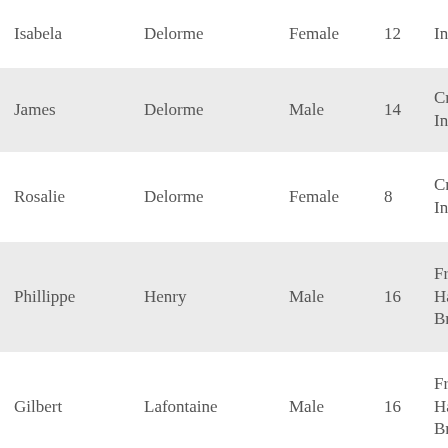| First Name | Last Name | Sex | Age | Heritage |
| --- | --- | --- | --- | --- |
| Isabela | Delorme | Female | 12 | Cree Indian |
| James | Delorme | Male | 14 | Cree Indian |
| Rosalie | Delorme | Female | 8 | Cree Indian |
| Phillippe | Henry | Male | 16 | French Half-Breed |
| Gilbert | Lafontaine | Male | 16 | French Half-Breed |
| Marie | Lafontaine | Female | 12 | French Half-Breed |